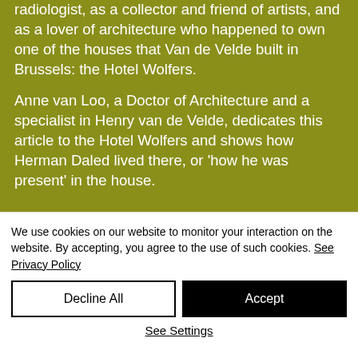radiologist, as a collector and friend of artists, and as a lover of architecture who happened to own one of the houses that Van de Velde built in Brussels: the Hotel Wolfers.

Anne van Loo, a Doctor of Architecture and a specialist in Henry van de Velde, dedicates this article to the Hotel Wolfers and shows how Herman Daled lived there, or 'how he was present' in the house.
We use cookies on our website to monitor your interaction on the website. By accepting, you agree to the use of such cookies. See Privacy Policy
Decline All
Accept
See Settings